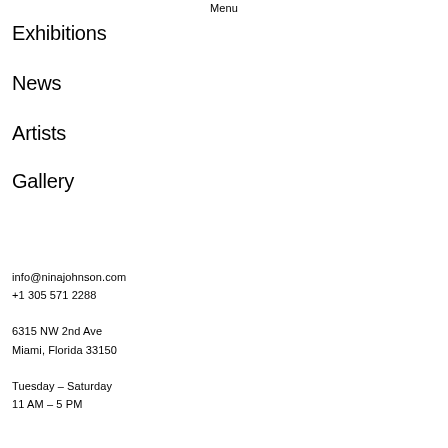Menu
Exhibitions
News
Artists
Gallery
info@ninajohnson.com
+1 305 571 2288

6315 NW 2nd Ave
Miami, Florida 33150

Tuesday – Saturday
11 AM – 5 PM